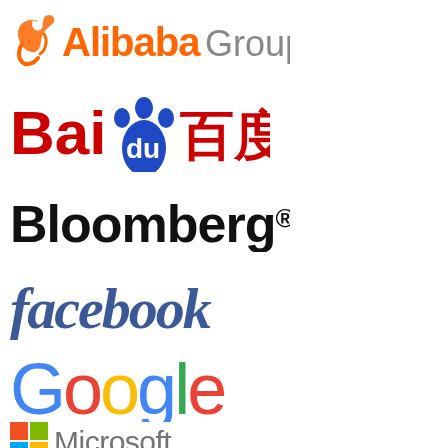[Figure (logo): Alibaba Group logo with orange brush-stroke icon and orange 'Alibaba' text with grey 'Group' text]
[Figure (logo): Baidu logo with red 'Bai' text, blue paw print with 'du' inside, and red Chinese characters for Baidu]
[Figure (logo): Bloomberg logo in bold black text with registered trademark symbol]
[Figure (logo): facebook logo in blue lowercase serif/rounded text]
[Figure (logo): Google logo in multicolor: blue G, red o, yellow o, blue g, green l, red e]
[Figure (logo): Microsoft logo with four colored squares and Microsoft text, partially visible at bottom]